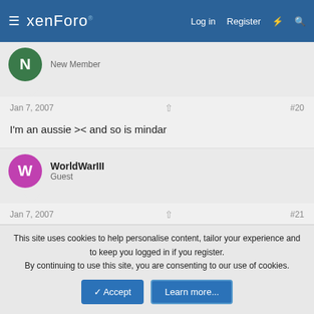xenForo  Log in  Register
New Member
Jan 7, 2007  #20
I'm an aussie >< and so is mindar
WorldWarIII  Guest
Jan 7, 2007  #21
Well all of you need to make an account and join my alliance!!!
hairtrigga
This site uses cookies to help personalise content, tailor your experience and to keep you logged in if you register.
By continuing to use this site, you are consenting to our use of cookies.